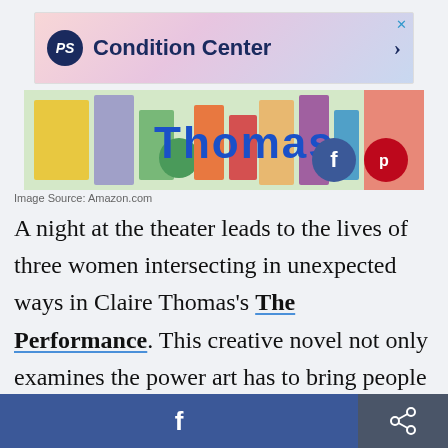[Figure (other): PS Condition Center advertisement banner with logo and arrow]
[Figure (photo): Colorful book cover showing text 'Thomas' with painted shapes, with Facebook and Pinterest social sharing buttons overlaid]
Image Source: Amazon.com
A night at the theater leads to the lives of three women intersecting in unexpected ways in Claire Thomas's The Performance. This creative novel not only examines the power art has to bring people together, but it also explores the rich interior lives of three very different women as their lives intertwine over the course of a single night out.
Facebook share button | Share button